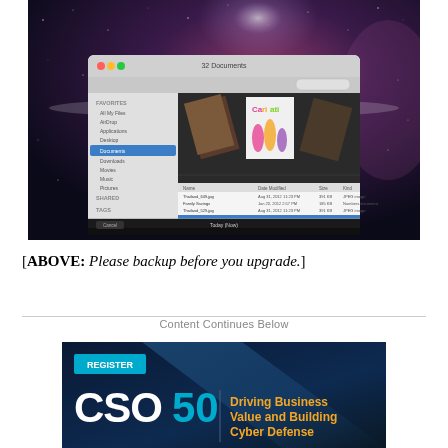[Figure (screenshot): Mac OS X Time Machine Finder window showing Documents folder with file list, displayed against a space/galaxy background. Shows files like Thailand images, Family Savings, Community Garden, etc. Bottom bar reads 'Today (Now)'.]
[ABOVE: Please backup before you upgrade.]
Content Continues Below
[Figure (screenshot): CSO50 advertisement banner with dark blue background. Shows 'REGISTER' button in cyan, 'CSO50' in large white and cyan text, and 'Driving Business Value and Building Cyber Defense' in orange text on the right.]